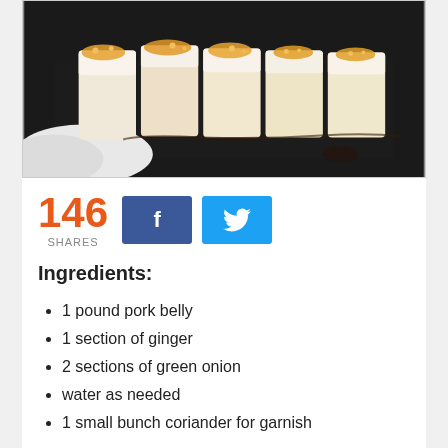[Figure (photo): Sliced pork belly arranged on a dark tray, topped with garlic sauce and garnish]
146 SHARES
Ingredients:
1 pound pork belly
1 section of ginger
2 sections of green onion
water as needed
1 small bunch coriander for garnish
Garlic sauce: